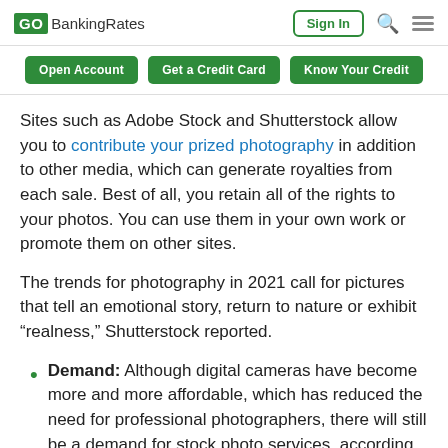GOBankingRates | Sign In
Open Account | Get a Credit Card | Know Your Credit
Sites such as Adobe Stock and Shutterstock allow you to contribute your prized photography in addition to other media, which can generate royalties from each sale. Best of all, you retain all of the rights to your photos. You can use them in your own work or promote them on other sites.
The trends for photography in 2021 call for pictures that tell an emotional story, return to nature or exhibit “realness,” Shutterstock reported.
Demand: Although digital cameras have become more and more affordable, which has reduced the need for professional photographers, there will still be a demand for stock photo services, according to the Bureau of Labor Statistics.